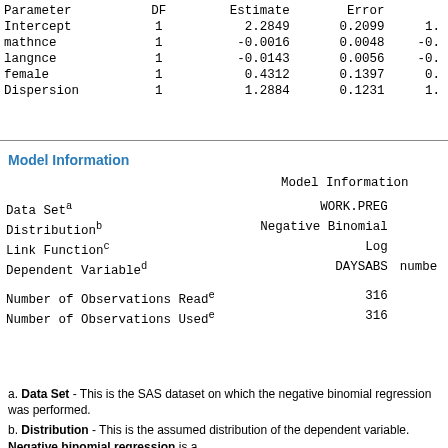| Parameter | DF | Estimate | Error |  |
| --- | --- | --- | --- | --- |
| Intercept | 1 | 2.2849 | 0.2099 | 1. |
| mathnce | 1 | -0.0016 | 0.0048 | -0. |
| langnce | 1 | -0.0143 | 0.0056 | -0. |
| female | 1 | 0.4312 | 0.1397 | 0. |
| Dispersion | 1 | 1.2884 | 0.1231 | 1. |
Model Information
|  | Model Information |  |
| --- | --- | --- |
| Data Setᵃ | WORK.PREG |  |
| Distributionᵇ | Negative Binomial |  |
| Link Functionᶜ | Log |  |
| Dependent Variableᵈ | DAYSABS | numbe |
|  |  |  |
| Number of Observations Readᵉ | 316 |  |
| Number of Observations Usedᵉ | 316 |  |
a. Data Set - This is the SAS dataset on which the negative binomial regression was performed.
b. Distribution - This is the assumed distribution of the dependent variable. Negative binomial regression is a